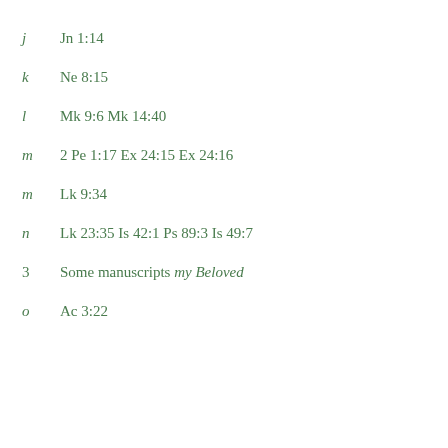j  Jn 1:14
k  Ne 8:15
l  Mk 9:6 Mk 14:40
m  2 Pe 1:17 Ex 24:15 Ex 24:16
m  Lk 9:34
n  Lk 23:35 Is 42:1 Ps 89:3 Is 49:7
3  Some manuscripts my Beloved
o  Ac 3:22